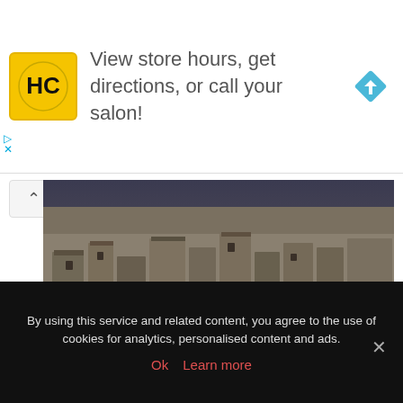[Figure (other): Advertisement banner for a salon service (Hairclub/HC logo) with text 'View store hours, get directions, or call your salon!' and a blue navigation/directions diamond icon]
[Figure (photo): Aerial panoramic photograph of Matera, Italy showing the sassi cave dwellings and ancient stone buildings densely packed on hillsides at dusk/evening with some lights visible]
| matera travel blog
Matera's sassi area doesn't have proper roads but consists of a dense network of alleys and stairs up and
By using this service and related content, you agree to the use of cookies for analytics, personalised content and ads.
Ok   Learn more